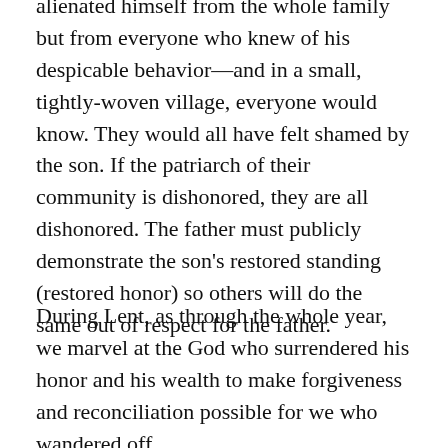alienated himself from the whole family but from everyone who knew of his despicable behavior—and in a small, tightly-woven village, everyone would know. They would all have felt shamed by the son. If the patriarch of their community is dishonored, they are all dishonored. The father must publicly demonstrate the son's restored standing (restored honor) so others will do the same out of respect for the father.
During Lent, as through the whole year, we marvel at the God who surrendered his honor and his wealth to make forgiveness and reconciliation possible for we who wandered off.